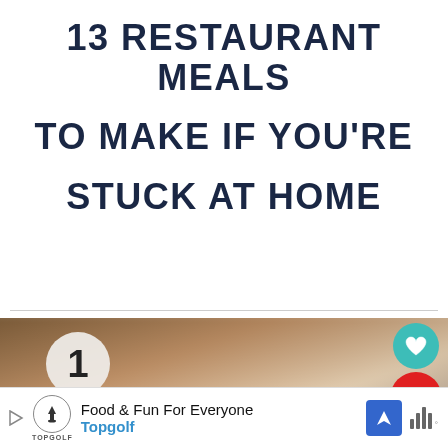13 RESTAURANT MEALS TO MAKE IF YOU'RE STUCK AT HOME
[Figure (photo): Blurred close-up photo of restaurant food on a plate, with a number '1' badge in the upper left, Pinterest and heart social share buttons in the upper right (722 pins), a share button, and a 'WHAT'S NEXT → My Top 20 Favorite...' panel in the lower right corner]
Food & Fun For Everyone
Topgolf